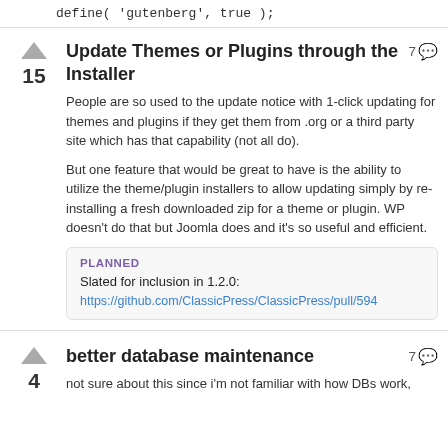define( 'gutenberg', true );
Update Themes or Plugins through the Installer
7 comments
15 votes
People are so used to the update notice with 1-click updating for themes and plugins if they get them from .org or a third party site which has that capability (not all do).
But one feature that would be great to have is the ability to utilize the theme/plugin installers to allow updating simply by re-installing a fresh downloaded zip for a theme or plugin. WP doesn't do that but Joomla does and it's so useful and efficient.
PLANNED
Slated for inclusion in 1.2.0:
https://github.com/ClassicPress/ClassicPress/pull/594
better database maintenance
7 comments
4 votes
not sure about this since i'm not familiar with how DBs work,